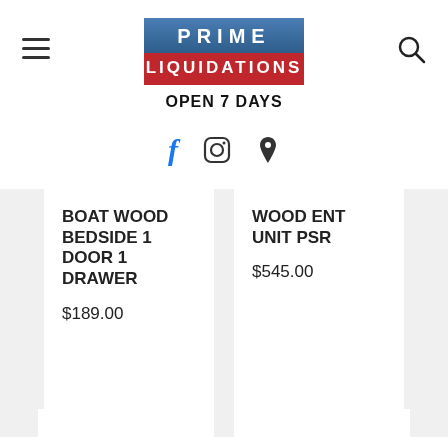[Figure (logo): Prime Liquidations logo with blue top bar showing PRIME and red bottom bar showing LIQUIDATIONS]
OPEN 7 DAYS
[Figure (other): Social media icons: Facebook, Instagram, Location pin]
BOAT WOOD BEDSIDE 1 DOOR 1 DRAWER
$189.00
WOOD ENT UNIT PSR
$545.00